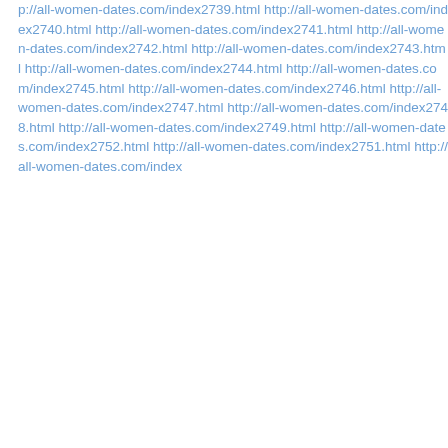p://all-women-dates.com/index2739.html http://all-women-dates.com/index2740.html http://all-women-dates.com/index2741.html http://all-women-dates.com/index2742.html http://all-women-dates.com/index2743.html http://all-women-dates.com/index2744.html http://all-women-dates.com/index2745.html http://all-women-dates.com/index2746.html http://all-women-dates.com/index2747.html http://all-women-dates.com/index2748.html http://all-women-dates.com/index2749.html http://all-women-dates.com/index2752.html http://all-women-dates.com/index2751.html http://all-women-dates.com/index